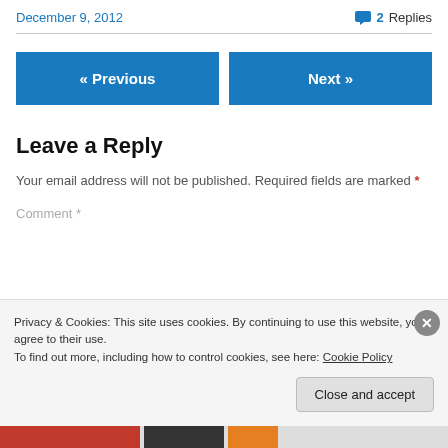December 9, 2012
2 Replies
« Previous
Next »
Leave a Reply
Your email address will not be published. Required fields are marked *
Privacy & Cookies: This site uses cookies. By continuing to use this website, you agree to their use. To find out more, including how to control cookies, see here: Cookie Policy
Close and accept